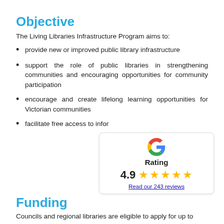Objective
The Living Libraries Infrastructure Program aims to:
provide new or improved public library infrastructure
support the role of public libraries in strengthening communities and encouraging opportunities for community participation
encourage and create lifelong learning opportunities for Victorian communities
facilitate free access to infor
[Figure (infographic): Google G logo with Rating label, 4.9 score, five gold stars, and 'Read our 243 reviews' link]
Funding
Councils and regional libraries are eligible to apply for up to